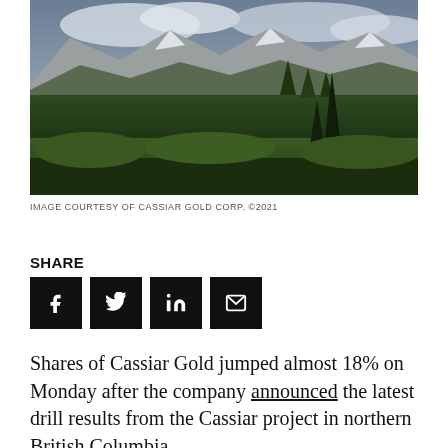[Figure (photo): Aerial landscape photograph showing dense conifer forest with mountains in the background under a cloudy sky — Cassiar Gold project, northern British Columbia]
IMAGE COURTESY OF CASSIAR GOLD CORP. ©2021
SHARE
[Figure (infographic): Four social media share buttons: Facebook (f), Twitter (bird icon), LinkedIn (in), Email (envelope icon) — all black square buttons with white icons]
Shares of Cassiar Gold jumped almost 18% on Monday after the company announced the latest drill results from the Cassiar project in northern British Columbia.